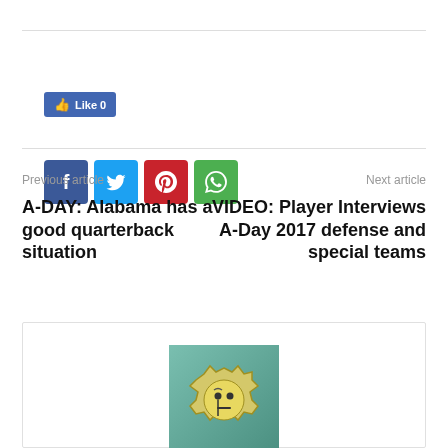[Figure (screenshot): Facebook Like button showing 'Like 0']
[Figure (screenshot): Social sharing buttons: Facebook (blue), Twitter (light blue), Pinterest (red), WhatsApp (green)]
Previous article
Next article
A-DAY: Alabama has a good quarterback situation
VIDEO: Player Interviews A-Day 2017 defense and special teams
[Figure (illustration): Author avatar: a gear-shaped icon with a cartoon face wearing a monocle, on a teal gradient background]